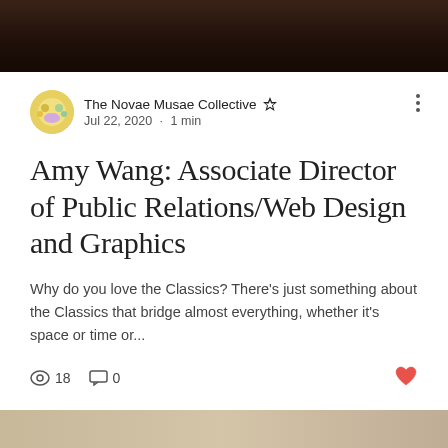[Figure (photo): Top portion of a photograph showing a person with dark hair against a dark background, cropped at the top of the page.]
The Novae Musae Collective ★ · Jul 22, 2020 · 1 min
Amy Wang: Associate Director of Public Relations/Web Design and Graphics
Why do you love the Classics? There's just something about the Classics that bridge almost everything, whether it's space or time or...
18  0
[Figure (photo): Bottom strip of a photograph showing a beige/tan toned image, partially visible at the bottom of the page.]